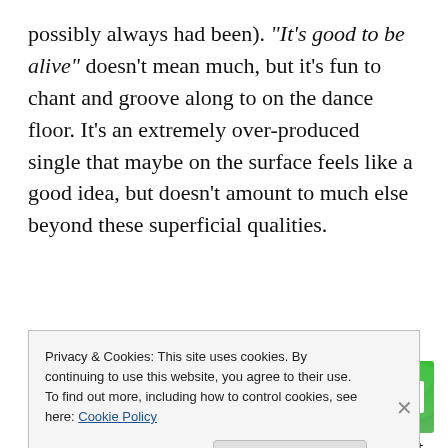possibly always had been). “It’s good to be alive” doesn’t mean much, but it’s fun to chant and groove along to on the dance floor. It’s an extremely over-produced single that maybe on the surface feels like a good idea, but doesn’t amount to much else beyond these superficial qualities.
[Figure (other): Jetpack advertisement banner: green background with Jetpack logo and 'Back up your site' call to action button]
69. “Got to Be Real” – Cheryl Lynn: I cannot believe that this song only hit #12 on the Hot 100, because it’s
Privacy & Cookies: This site uses cookies. By continuing to use this website, you agree to their use.
To find out more, including how to control cookies, see here: Cookie Policy
Close and accept